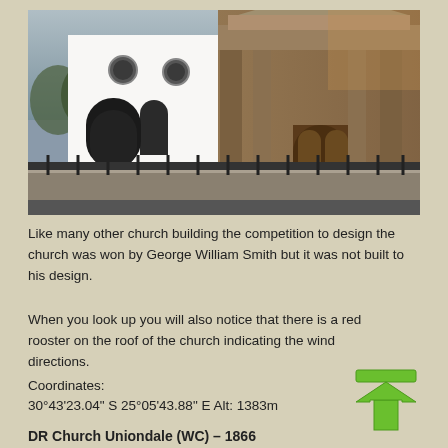[Figure (photo): Photograph of a historic church building with white plaster walls on the left side and stone columns/facade on the right, with arched windows and a wooden door, iron fence along a retaining wall in front.]
Like many other church building the competition to design the church was won by George William Smith but it was not built to his design.
When you look up you will also notice that there is a red rooster on the roof of the church indicating the wind directions.
Coordinates:
30°43'23.04" S 25°05'43.88" E Alt: 1383m
DR Church Uniondale (WC) – 1866